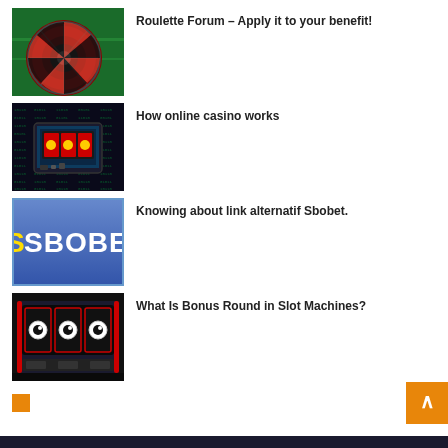[Figure (photo): Roulette wheel close-up thumbnail]
Roulette Forum – Apply it to your benefit!
[Figure (photo): Online casino tablet/computer screen thumbnail]
How online casino works
[Figure (photo): Sbobet logo blue background thumbnail]
Knowing about link alternatif Sbobet.
[Figure (photo): Slot machine bonus round game thumbnail]
What Is Bonus Round in Slot Machines?